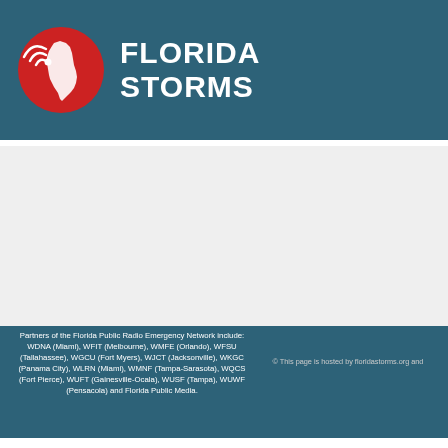[Figure (logo): Florida Storms logo: red circle with white Florida state outline and radio wave icon]
FLORIDA STORMS
Partners of the Florida Public Radio Emergency Network include: WDNA (Miami), WFIT (Melbourne), WMFE (Orlando), WFSU (Tallahassee), WGCU (Fort Myers), WJCT (Jacksonville), WKGC (Panama City), WLRN (Miami), WMNF (Tampa-Sarasota), WQCS (Fort Pierce), WUFT (Gainesville-Ocala), WUSF (Tampa), WUWF (Pensacola) and Florida Public Media.
[Figure (logo): Social media icons: Facebook, Instagram, Twitter]
1885 Stadium Road
PO Box 118400
Gainesville, FL 32611
(352) 392-5551
© This page is hosted by floridastorms.org and